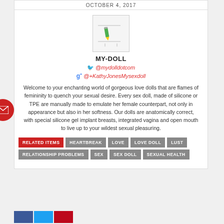OCTOBER 4, 2017
[Figure (photo): Author avatar placeholder with pencil/edit icon]
MY-DOLL
🐦 @mydolldotcom
g+ @+KathyJonesMysexdoll
Welcome to your enchanting world of gorgeous love dolls that are flames of femininity to quench your sexual desire. Every sex doll, made of silicone or TPE are manually made to emulate her female counterpart, not only in appearance but also in her softness. Our dolls are anatomically correct, with special silicone gel implant breasts, integrated vagina and open mouth to live up to your wildest sexual pleasuring.
RELATED ITEMS
HEARTBREAK
LOVE
LOVE DOLL
LUST
RELATIONSHIP PROBLEMS
SEX
SEX DOLL
SEXUAL HEALTH